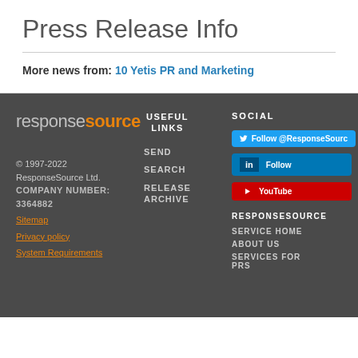Press Release Info
More news from: 10 Yetis PR and Marketing
[Figure (logo): ResponseSource logo with orange and grey text]
© 1997-2022 ResponseSource Ltd. COMPANY NUMBER: 3364882
Sitemap
Privacy policy
System Requirements
USEFUL LINKS
SEND
SEARCH
RELEASE ARCHIVE
SOCIAL
Follow @ResponseSource
Follow
YouTube
RESPONSESOURCE
SERVICE HOME
ABOUT US
SERVICES FOR PRS